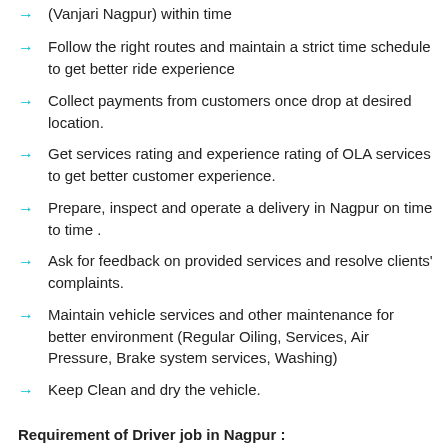(Vanjari Nagpur) within time
Follow the right routes and maintain a strict time schedule to get better ride experience
Collect payments from customers once drop at desired location.
Get services rating and experience rating of OLA services to get better customer experience.
Prepare, inspect and operate a delivery in Nagpur on time to time .
Ask for feedback on provided services and resolve clients' complaints.
Maintain vehicle services and other maintenance for better environment (Regular Oiling, Services, Air Pressure, Brake system services, Washing)
Keep Clean and dry the vehicle.
Requirement of Driver job in Nagpur :
Applicant must have Driving license (Yellow Badge & Clean driving record), PAN Card, Aadhaar